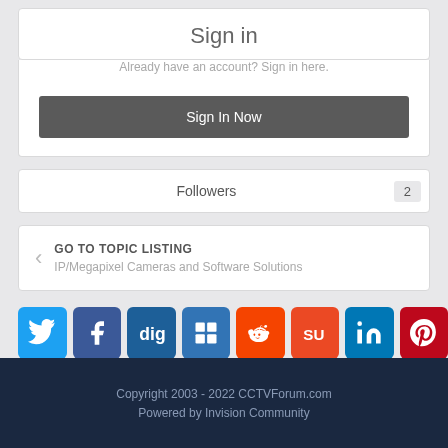Sign in
Already have an account? Sign in here.
Sign In Now
Followers 2
GO TO TOPIC LISTING
IP/Megapixel Cameras and Software Solutions
[Figure (other): Row of social media share icons: Twitter, Facebook, Digg, Delicious, Reddit, StumbleUpon, LinkedIn, Pinterest]
Copyright 2003 - 2022 CCTVForum.com
Powered by Invision Community